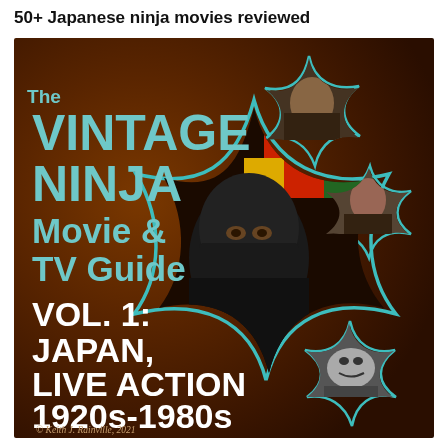50+ Japanese ninja movies reviewed
[Figure (illustration): Book cover for 'The Vintage Ninja Movie & TV Guide Vol. 1: Japan, Live Action 1920s-1980s' by Keith J. Rainville, 2021. Dark brown background with teal star/shuriken shapes and photos of ninja characters inset within them.]
The VINTAGE NINJA Movie & TV Guide VOL. 1: JAPAN, LIVE ACTION 1920s-1980s
© Keith J. Rainville, 2021